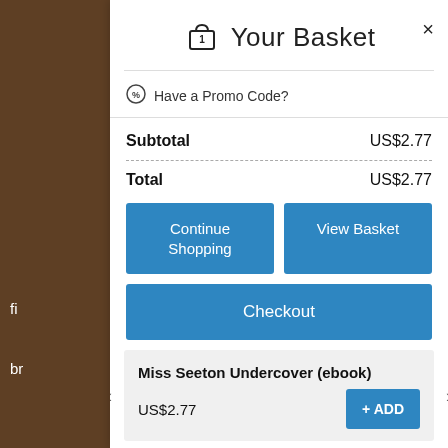Your Basket
Have a Promo Code?
| Subtotal | US$2.77 |
| Total | US$2.77 |
Continue Shopping
View Basket
Checkout
Miss Seeton Undercover (ebook)
US$2.77
+ ADD